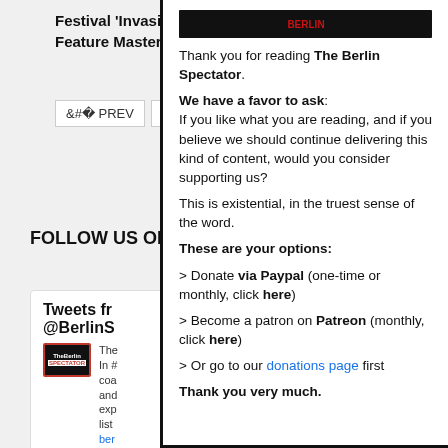Festival 'Invasion Feature Master
< PREV   NEXT >
FOLLOW US ON
Tweets from @BerlinS
Thank you for reading The Berlin Spectator.
We have a favor to ask: If you like what you are reading, and if you believe we should continue delivering this kind of content, would you consider supporting us?
This is existential, in the truest sense of the word.
These are your options:
> Donate via Paypal (one-time or monthly, click here)
> Become a patron on Patreon (monthly, click here)
> Or go to our donations page first
Thank you very much.